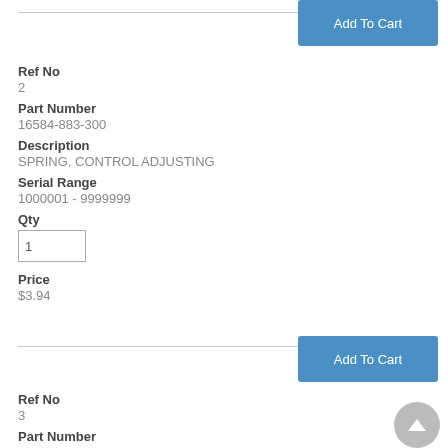Add To Cart
Ref No
2
Part Number
16584-883-300
Description
SPRING, CONTROL ADJUSTING
Serial Range
1000001 - 9999999
Qty
1
Price
$3.94
Add To Cart
Ref No
3
Part Number
19610-ZB8-000